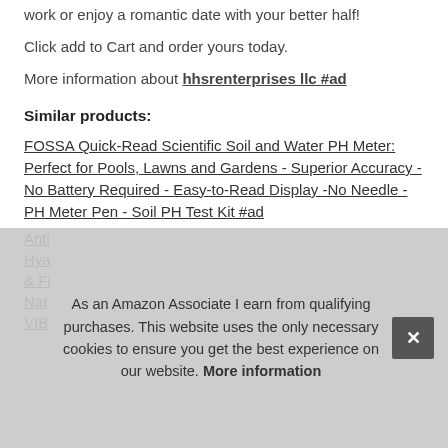work or enjoy a romantic date with your better half!
Click add to Cart and order yours today.
More information about hhsrenterprises llc #ad
Similar products:
FOSSA Quick-Read Scientific Soil and Water PH Meter: Perfect for Pools, Lawns and Gardens - Superior Accuracy - No Battery Required - Easy-to-Read Display -No Needle - PH Meter Pen - Soil PH Test Kit #ad
Anti...
Hya...
& Fi...
Nat...
VIB...
As an Amazon Associate I earn from qualifying purchases. This website uses the only necessary cookies to ensure you get the best experience on our website. More information